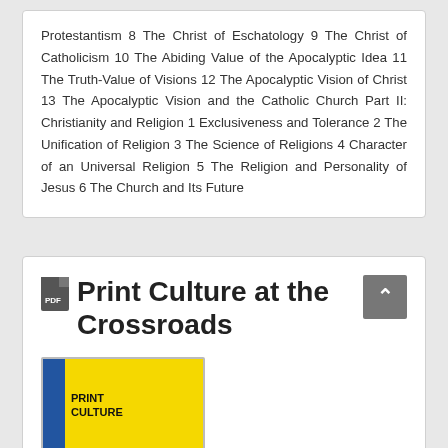Protestantism 8 The Christ of Eschatology 9 The Christ of Catholicism 10 The Abiding Value of the Apocalyptic Idea 11 The Truth-Value of Visions 12 The Apocalyptic Vision of Christ 13 The Apocalyptic Vision and the Catholic Church Part II: Christianity and Religion 1 Exclusiveness and Tolerance 2 The Unification of Religion 3 The Science of Religions 4 Character of an Universal Religion 5 The Religion and Personality of Jesus 6 The Church and Its Future
Print Culture at the Crossroads
[Figure (illustration): Book cover thumbnail showing 'Print Culture' text on yellow background with blue spine]